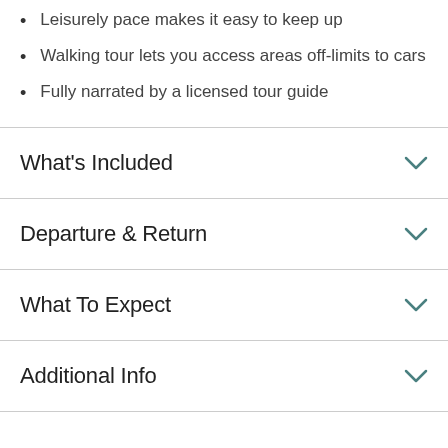Leisurely pace makes it easy to keep up
Walking tour lets you access areas off-limits to cars
Fully narrated by a licensed tour guide
What's Included
Departure & Return
What To Expect
Additional Info